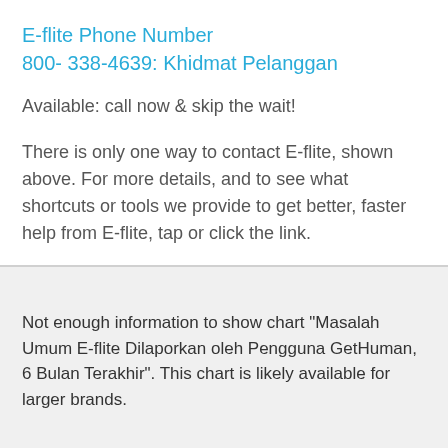E-flite Phone Number
800- 338-4639: Khidmat Pelanggan
Available: call now & skip the wait!
There is only one way to contact E-flite, shown above. For more details, and to see what shortcuts or tools we provide to get better, faster help from E-flite, tap or click the link.
Not enough information to show chart "Masalah Umum E-flite Dilaporkan oleh Pengguna GetHuman, 6 Bulan Terakhir". This chart is likely available for larger brands.